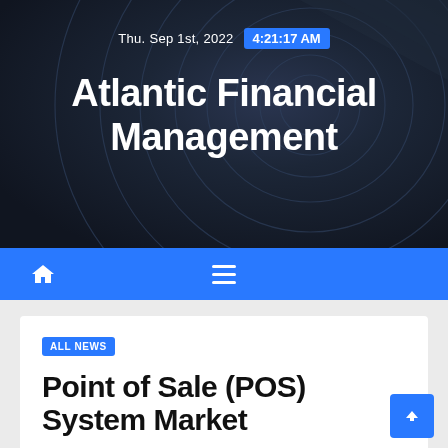Thu. Sep 1st, 2022  4:21:17 AM
Atlantic Financial Management
[Figure (screenshot): Navigation bar with home icon and hamburger menu on blue background]
ALL NEWS
Point of Sale (POS) System Market